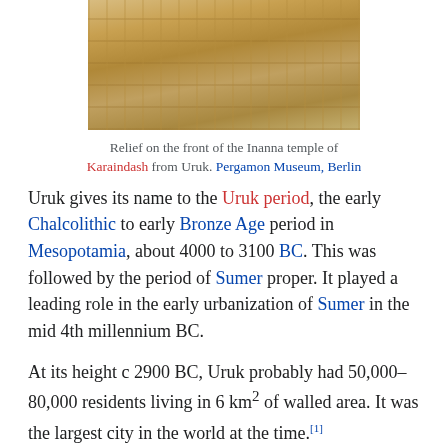[Figure (photo): Photograph of a stone relief reconstruction showing the front of the Inanna temple of Karaindash from Uruk, with carved brick-like stonework in beige/tan tones, displayed at the Pergamon Museum, Berlin.]
Relief on the front of the Inanna temple of Karaindash from Uruk. Pergamon Museum, Berlin
Uruk gives its name to the Uruk period, the early Chalcolithic to early Bronze Age period in Mesopotamia, about 4000 to 3100 BC. This was followed by the period of Sumer proper. It played a leading role in the early urbanization of Sumer in the mid 4th millennium BC.
At its height c 2900 BC, Uruk probably had 50,000–80,000 residents living in 6 km² of walled area. It was the largest city in the world at the time.[1]
According to the chronology in the Sumerian king list, the semi-mythical king Gilgamesh ruled Uruk in the 27th